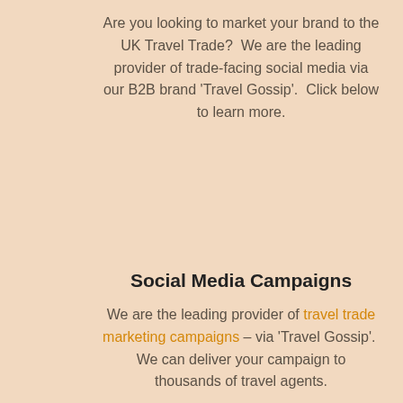Are you looking to market your brand to the UK Travel Trade?  We are the leading provider of trade-facing social media via our B2B brand 'Travel Gossip'.  Click below to learn more.
Social Media Campaigns
We are the leading provider of travel trade marketing campaigns – via 'Travel Gossip'.  We can deliver your campaign to thousands of travel agents.